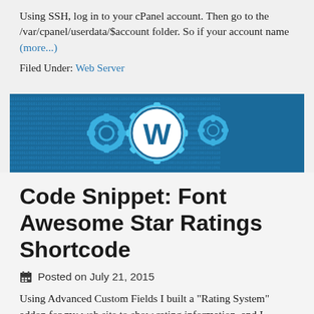Using SSH, log in to your cPanel account. Then go to the /var/cpanel/userdata/$account folder. So if your account name (more...)
Filed Under: Web Server
[Figure (illustration): WordPress banner image with gears and binary code background on blue background, featuring the WordPress 'W' logo in a circle]
Code Snippet: Font Awesome Star Ratings Shortcode
Posted on July 21, 2015
Using Advanced Custom Fields I built a "Rating System" addon for my web site to show rating information, and I wanted to show actual stars for the